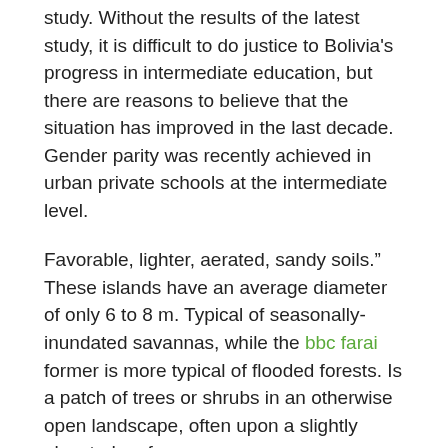study. Without the results of the latest study, it is difficult to do justice to Bolivia's progress in intermediate education, but there are reasons to believe that the situation has improved in the last decade. Gender parity was recently achieved in urban private schools at the intermediate level.
Favorable, lighter, aerated, sandy soils.” These islands have an average diameter of only 6 to 8 m. Typical of seasonally-inundated savannas, while the bbc farai former is more typical of flooded forests. Is a patch of trees or shrubs in an otherwise open landscape, often upon a slightly elevated surface.
Disembarking and disoriented passengers then have little option but to hail a waiting taxi. Thieves in collusion with the taxi driver enter the taxi to blindfold and coerce the U.S. citizen into surrendering cash, cameras, ATM cards, and